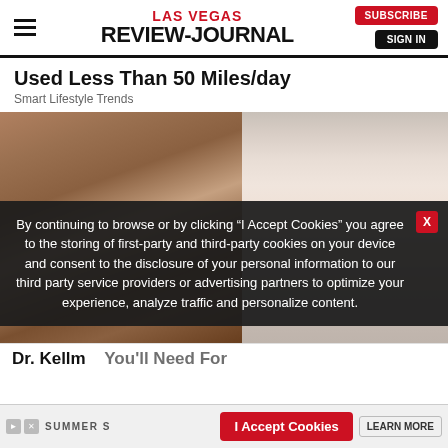LAS VEGAS REVIEW-JOURNAL | SUBSCRIBE | SIGN IN
Used Less Than 50 Miles/day
Smart Lifestyle Trends
[Figure (photo): Left side shows close-up of person's legs with visible vein/skin condition; right side shows a smiling blonde woman in a white coat]
By continuing to browse or by clicking “I Accept Cookies” you agree to the storing of first-party and third-party cookies on your device and consent to the disclosure of your personal information to our third party service providers or advertising partners to optimize your experience, analyze traffic and personalize content.
Dr. Kellmann... You'll Need For
SUMMER S  I Accept Cookies  LEARN MORE